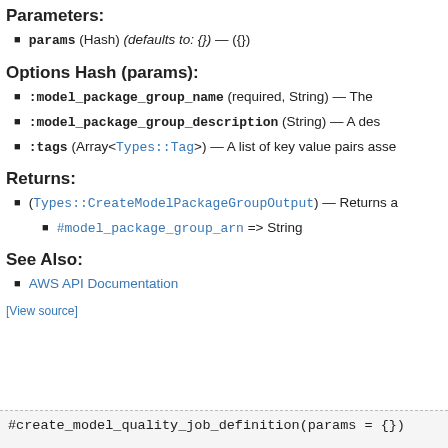Parameters:
params (Hash) (defaults to: {}) — ({})
Options Hash (params):
:model_package_group_name (required, String) — The
:model_package_group_description (String) — A des
:tags (Array<Types::Tag>) — A list of key value pairs asse
Returns:
(Types::CreateModelPackageGroupOutput) — Returns a
#model_package_group_arn => String
See Also:
AWS API Documentation
[View source]
#create_model_quality_job_definition(params = {})